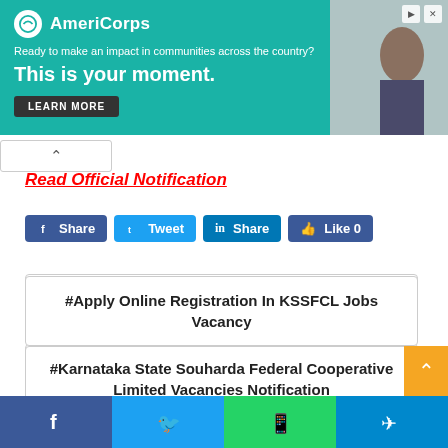[Figure (screenshot): AmeriCorps advertisement banner with teal background. Logo and text: 'Ready to make an impact in communities across the country? This is your moment.' with LEARN MORE button. Right side shows a partial photo of a person.]
Read Official Notification
[Figure (infographic): Social share buttons: Facebook Share, Twitter Tweet, LinkedIn Share, Like 0]
#Apply Online Registration In KSSFCL Jobs Vacancy
#Karnataka State Souharda Federal Cooperative Limited Vacancies Notification
#KSSFCL Bharti Latest News Today
#KSSFCL Recruitment
[Figure (infographic): Bottom social share bar with Facebook, Twitter, WhatsApp, and Telegram buttons]